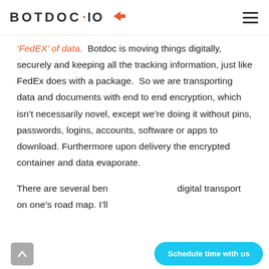BOTDOC·iO [logo with arrow icon and hamburger menu]
'FedEX' of data.  Botdoc is moving things digitally, securely and keeping all the tracking information, just like FedEx does with a package.  So we are transporting data and documents with end to end encryption, which isn't necessarily novel, except we're doing it without pins, passwords, logins, accounts, software or apps to download.  Furthermore upon delivery the encrypted container and data evaporate.
There are several ben… digital transport on one's road map. I'll